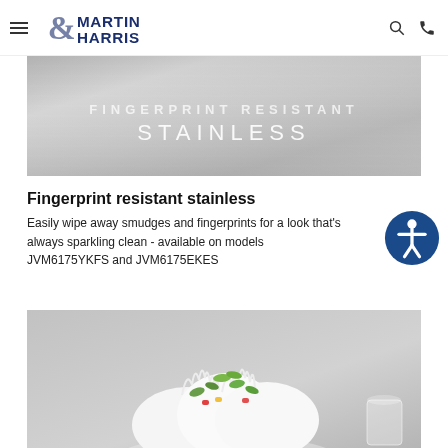Martin & Harris Appliances - navigation header with logo, search and phone icons
[Figure (photo): Fingerprint resistant stainless steel surface banner with text 'FINGERPRINT RESISTANT STAINLESS']
Fingerprint resistant stainless
Easily wipe away smudges and fingerprints for a look that's always sparkling clean - available on models JVM6175YKFS and JVM6175EKES
[Figure (photo): Food photo showing a whipped cream dessert with fruit garnish on a gray background]